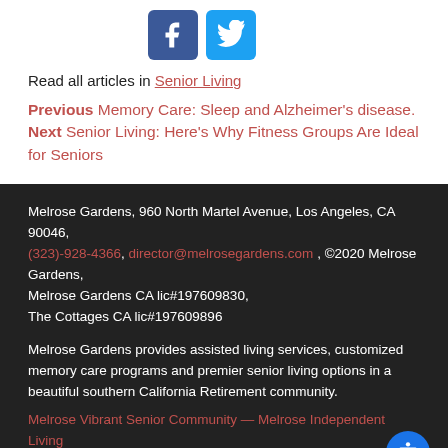[Figure (other): Facebook and Twitter social media icons]
Read all articles in Senior Living
Previous Memory Care: Sleep and Alzheimer's disease.
Next Senior Living: Here's Why Fitness Groups Are Ideal for Seniors
Melrose Gardens, 960 North Martel Avenue, Los Angeles, CA 90046, (323)-928-4366, director@melrosegardens.com , ©2020 Melrose Gardens, Melrose Gardens CA lic#197609830, The Cottages CA lic#197609896

Melrose Gardens provides assisted living services, customized memory care programs and premier senior living options in a beautiful southern California Retirement community.
Melrose Vibrant Senior Community — Melrose Independent Living
Melrose Assisted Living — Melrose Memory Care